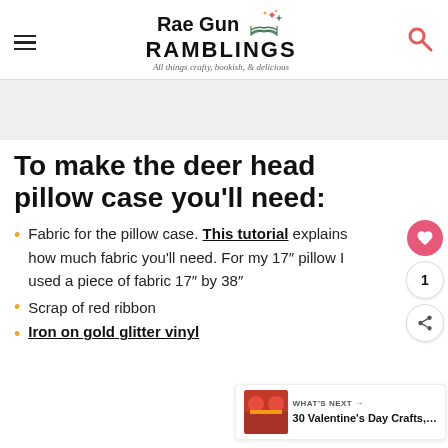Rae Gun RAMBLINGS — All things crafty, bookish, & delicious
To make the deer head pillow case you'll need:
Fabric for the pillow case. This tutorial explains how much fabric you'll need. For my 17" pillow I used a piece of fabric 17" by 38"
Scrap of red ribbon
Iron on gold glitter vinyl